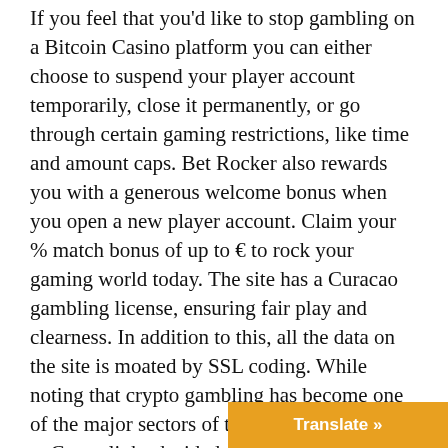If you feel that you'd like to stop gambling on a Bitcoin Casino platform you can either choose to suspend your player account temporarily, close it permanently, or go through certain gaming restrictions, like time and amount caps. Bet Rocker also rewards you with a generous welcome bonus when you open a new player account. Claim your % match bonus of up to € to rock your gaming world today. The site has a Curacao gambling license, ensuring fair play and clearness. In addition to this, all the data on the site is moated by SSL coding. While noting that crypto gambling has become one of the major sectors of the crypto industry, we at Cryptolinks decided to dedicate this review section to the top platform allowing people to gamble with bitcoin or other cryptocurrencies. To compile our list, we had to consider all of the recommendations listed earlier in this guide. However, as with fiat money online casinos, not all op… and choosing the wrong one can have a re…
Translate »